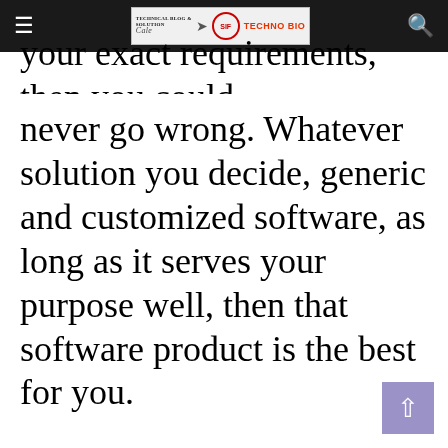≡  [TECHNO BIO logo]  🔍
your exact requirements, then you could never go wrong. Whatever solution you decide, generic and customized software, as long as it serves your purpose well, then that software product is the best for you.